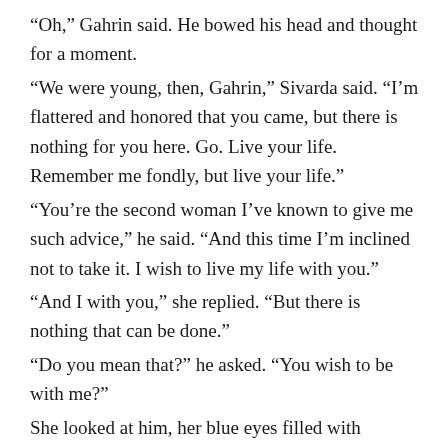“Oh,” Gahrin said. He bowed his head and thought for a moment.
“We were young, then, Gahrin,” Sivarda said. “I’m flattered and honored that you came, but there is nothing for you here. Go. Live your life. Remember me fondly, but live your life.”
“You’re the second woman I’ve known to give me such advice,” he said. “And this time I’m inclined not to take it. I wish to live my life with you.”
“And I with you,” she replied. “But there is nothing that can be done.”
“Do you mean that?” he asked. “You wish to be with me?”
She looked at him, her blue eyes filled with sorrow. “Yes, my old friend. My old love. But—”
“And if I found a way for us to be together?” he asked, desperately grasping for some thread of hope.